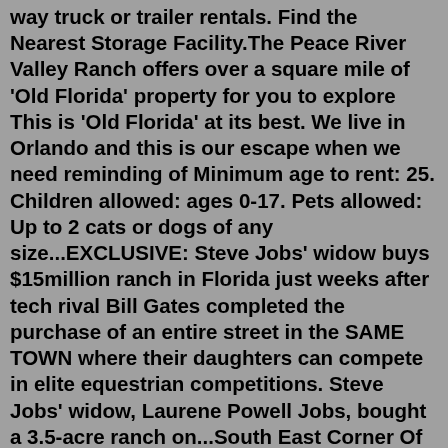way truck or trailer rentals. Find the Nearest Storage Facility.The Peace River Valley Ranch offers over a square mile of 'Old Florida' property for you to explore This is 'Old Florida' at its best. We live in Orlando and this is our escape when we need reminding of Minimum age to rent: 25. Children allowed: ages 0-17. Pets allowed: Up to 2 cats or dogs of any size...EXCLUSIVE: Steve Jobs' widow buys $15million ranch in Florida just weeks after tech rival Bill Gates completed the purchase of an entire street in the SAME TOWN where their daughters can compete in elite equestrian competitions. Steve Jobs' widow, Laurene Powell Jobs, bought a 3.5-acre ranch on...South East Corner Of State Rd 64 & 117th St E. Drive: 13 min. 6.1 mi. Country living close to Lakewood Ranch! has 3 shopping centers within 6.1 miles, which is about a 13-minute walk. The miles and minutes will be for the farthest away property. Parks and Recreation. Distance. Find Family Hotels, Family Resorts, and Family Vacation Homes in Little Ranches, FL. Get the Best Prices on 2040 family-